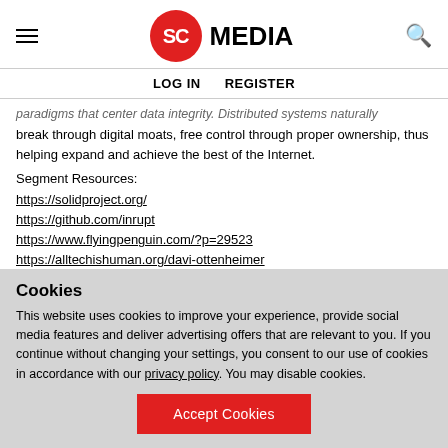SC MEDIA — LOG IN | REGISTER
paradigms that center data integrity. Distributed systems naturally break through digital moats, free control through proper ownership, thus helping expand and achieve the best of the Internet.
Segment Resources:
https://solidproject.org/
https://github.com/inrupt
https://www.flyingpenguin.com/?p=29523
https://alltechishuman.org/davi-ottenheimer
Cookies
This website uses cookies to improve your experience, provide social media features and deliver advertising offers that are relevant to you. If you continue without changing your settings, you consent to our use of cookies in accordance with our privacy policy. You may disable cookies.